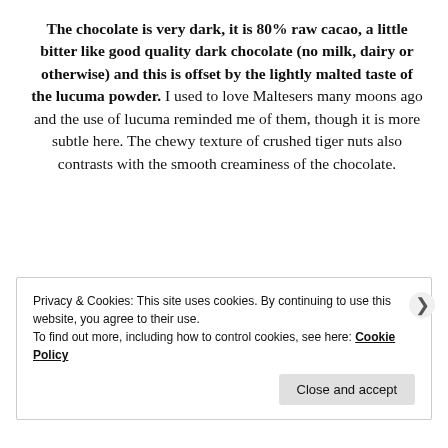The chocolate is very dark, it is 80% raw cacao, a little bitter like good quality dark chocolate (no milk, dairy or otherwise) and this is offset by the lightly malted taste of the lucuma powder. I used to love Maltesers many moons ago and the use of lucuma reminded me of them, though it is more subtle here. The chewy texture of crushed tiger nuts also contrasts with the smooth creaminess of the chocolate.
Privacy & Cookies: This site uses cookies. By continuing to use this website, you agree to their use.
To find out more, including how to control cookies, see here: Cookie Policy